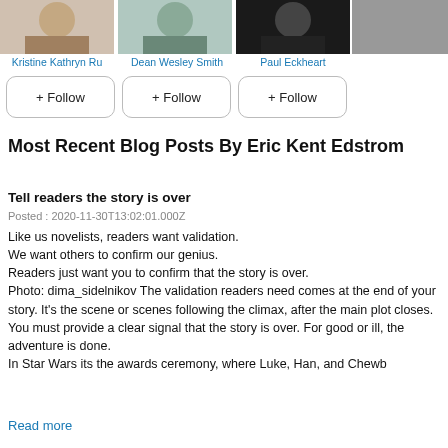[Figure (photo): Author photo of Kristine Kathryn Ru (cropped name), partial portrait]
[Figure (photo): Author photo of Dean Wesley Smith, partial portrait]
[Figure (photo): Author photo of Paul Eckheart, dark background portrait]
[Figure (photo): Partial fourth author photo, cropped on right edge]
Kristine Kathryn Ru
Dean Wesley Smith
Paul Eckheart
+ Follow
+ Follow
+ Follow
Most Recent Blog Posts By Eric Kent Edstrom
Tell readers the story is over
Posted : 2020-11-30T13:02:01.000Z
Like us novelists, readers want validation.
We want others to confirm our genius.
Readers just want you to confirm that the story is over.
Photo: dima_sidelnikov The validation readers need comes at the end of your story. It's the scene or scenes following the climax, after the main plot closes.
You must provide a clear signal that the story is over. For good or ill, the adventure is done.
In Star Wars its the awards ceremony, where Luke, Han, and Chewb
Read more